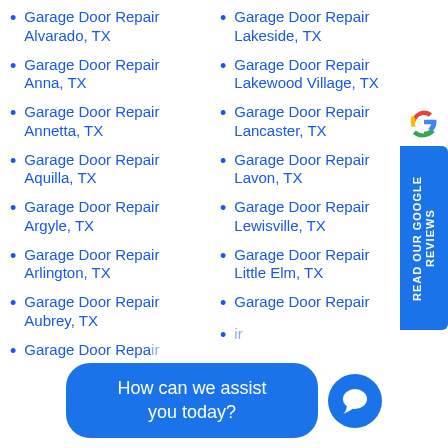Garage Door Repair Alvarado, TX
Garage Door Repair Lakeside, TX
Garage Door Repair Anna, TX
Garage Door Repair Lakewood Village, TX
Garage Door Repair Annetta, TX
Garage Door Repair Lancaster, TX
Garage Door Repair Aquilla, TX
Garage Door Repair Lavon, TX
Garage Door Repair Argyle, TX
Garage Door Repair Lewisville, TX
Garage Door Repair Arlington, TX
Garage Door Repair Little Elm, TX
Garage Door Repair Aubrey, TX
Garage Door Repair [partial, right col]
Garage Door Repair [partial bottom left]
[Figure (logo): Google G logo]
READ OUR GOOGLE REVIEWS
How can we assist you today?